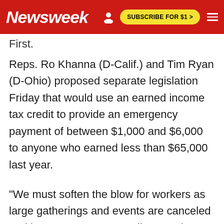Newsweek | SUBSCRIBE FOR $1 >
First.
Reps. Ro Khanna (D-Calif.) and Tim Ryan (D-Ohio) proposed separate legislation Friday that would use an earned income tax credit to provide an emergency payment of between $1,000 and $6,000 to anyone who earned less than $65,000 last year.
"We must soften the blow for workers as large gatherings and events are canceled and hours are cut. A payroll tax cut is not sufficient," said Khanna in a statement. "This plan is about